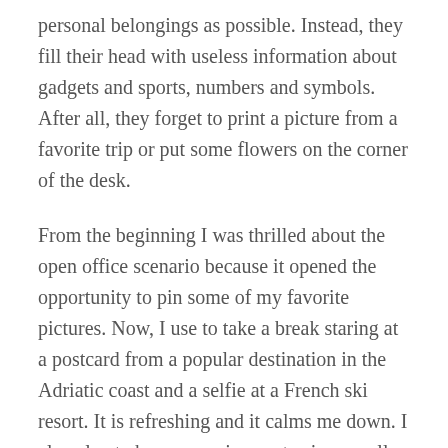personal belongings as possible. Instead, they fill their head with useless information about gadgets and sports, numbers and symbols. After all, they forget to print a picture from a favorite trip or put some flowers on the corner of the desk.
From the beginning I was thrilled about the open office scenario because it opened the opportunity to pin some of my favorite pictures. Now, I use to take a break staring at a postcard from a popular destination in the Adriatic coast and a selfie at a French ski resort. It is refreshing and it calms me down. I also plan to buy a growing cactus in a small pot or a wooden statuette at my next trip. It will help personalize and put more energy in my office.
In conclusion, I see a straight connection between empty workspaces and whining behaviors. People complain about staying late at work, about bad